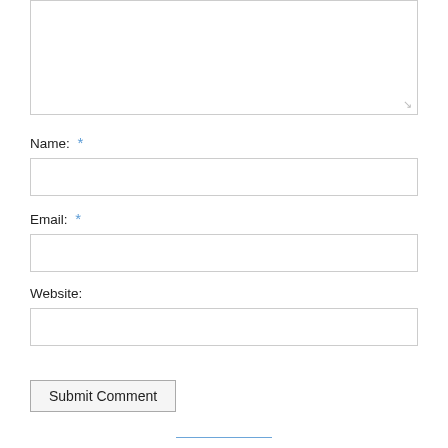[Figure (screenshot): A web comment form showing a textarea (partially visible at top), followed by Name field with required asterisk, Email field with required asterisk, Website field, and a Submit Comment button.]
Name: *
Email: *
Website:
Submit Comment